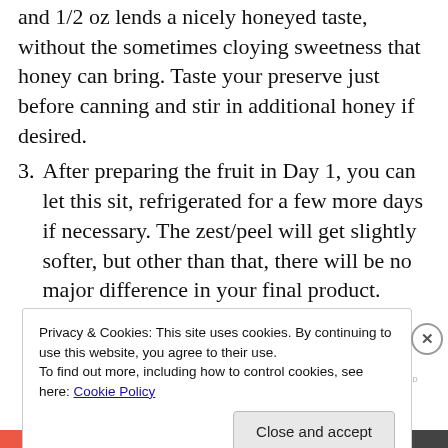and 1/2 oz lends a nicely honeyed taste, without the sometimes cloying sweetness that honey can bring. Taste your preserve just before canning and stir in additional honey if desired.
3. After preparing the fruit in Day 1, you can let this sit, refrigerated for a few more days if necessary. The zest/peel will get slightly softer, but other than that, there will be no major difference in your final product.
[Figure (other): Advertisement banner with gradient orange and purple tones]
Privacy & Cookies: This site uses cookies. By continuing to use this website, you agree to their use.
To find out more, including how to control cookies, see here: Cookie Policy
Close and accept